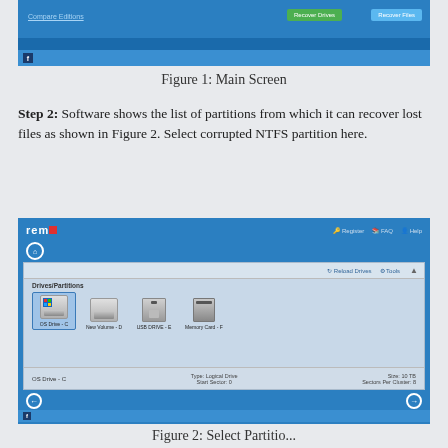[Figure (screenshot): Top portion of Remo software main screen showing navigation bar with Compare Editions link, Recover Drives green button, and another blue button, with a Facebook icon at bottom]
Figure 1: Main Screen
Step 2: Software shows the list of partitions from which it can recover lost files as shown in Figure 2. Select corrupted NTFS partition here.
[Figure (screenshot): Remo software showing Drives/Partitions panel with four drive icons: OS Drive - C (selected, with Windows logo), New Volume - D, USB DRIVE - E, Memory Card - F. Status bar shows OS Drive - C, Type: Logical Drive, Start Sector: 0, Size: 10 TB, Sectors Per Cluster: 8. Navigation arrows at bottom.]
Figure 2: Select Partitio...